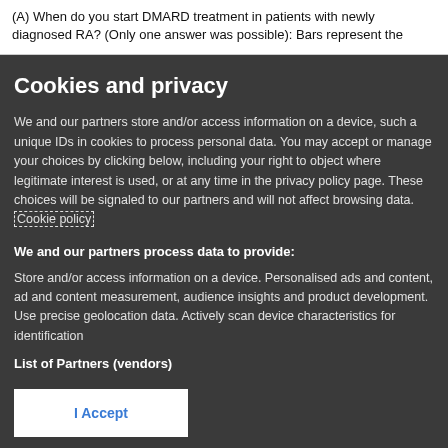(A) When do you start DMARD treatment in patients with newly diagnosed RA? (Only one answer was possible): Bars represent the
Cookies and privacy
We and our partners store and/or access information on a device, such a unique IDs in cookies to process personal data. You may accept or manage your choices by clicking below, including your right to object where legitimate interest is used, or at any time in the privacy policy page. These choices will be signaled to our partners and will not affect browsing data. Cookie policy
We and our partners process data to provide:
Store and/or access information on a device. Personalised ads and content, ad and content measurement, audience insights and product development. Use precise geolocation data. Actively scan device characteristics for identification
List of Partners (vendors)
I Accept